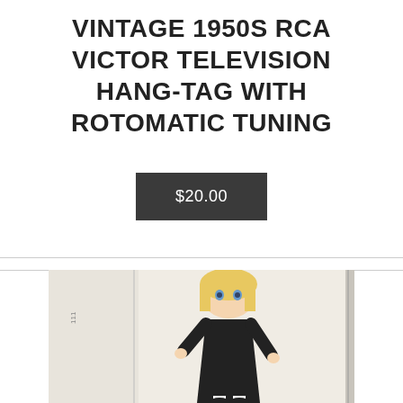VINTAGE 1950S RCA VICTOR TELEVISION HANG-TAG WITH ROTOMATIC TUNING
$20.00
[Figure (photo): A doll with blonde hair wearing a black dress with white collar, sitting in a white box. The doll has blue eyes and black shoes with white socks.]